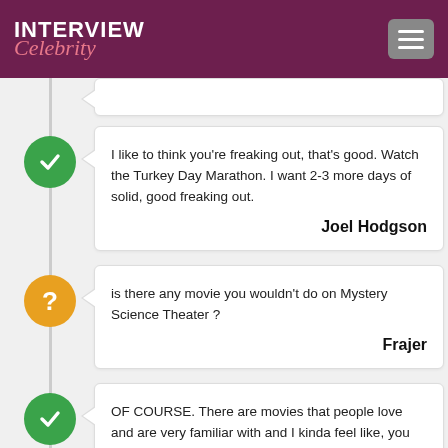INTERVIEW Celebrity
I like to think you're freaking out, that's good. Watch the Turkey Day Marathon. I want 2-3 more days of solid, good freaking out.
Joel Hodgson
is there any movie you wouldn't do on Mystery Science Theater?
Frajer
OF COURSE. There are movies that people love and are very familiar with and I kinda feel like, you